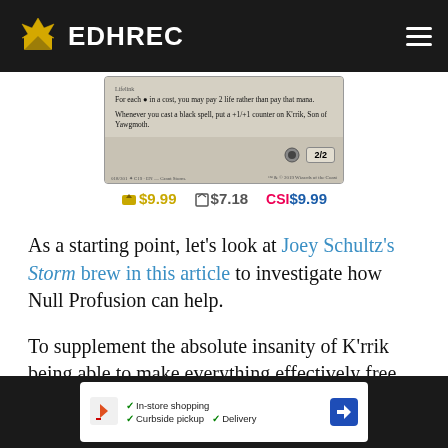EDHREC
[Figure (photo): Magic: The Gathering card K'rrik, Son of Yawgmoth showing card text and 2/2 power/toughness, with prices listed below: $9.99, $7.18, $9.99]
As a starting point, let's look at Joey Schultz's Storm brew in this article to investigate how Null Profusion can help.
To supplement the absolute insanity of K'rrik being able to make everything effectively free, card draw is necessary to keep the Storm going. Something that can be easily missed is that K'rrik also affects activated abilities, making Greed and Vilis, Broker of Blood absolutely nuts! There's also Necropotence, but drawing the [drawback]. To [the black